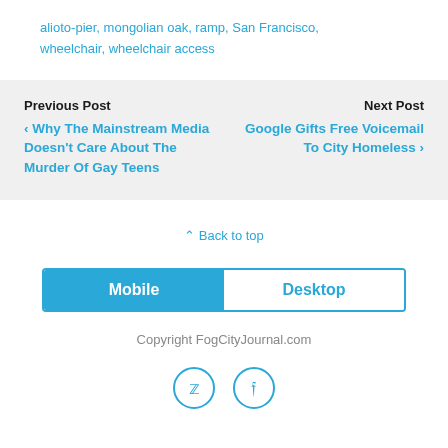alioto-pier, mongolian oak, ramp, San Francisco, wheelchair, wheelchair access
Previous Post
‹ Why The Mainstream Media Doesn't Care About The Murder Of Gay Teens
Next Post
Google Gifts Free Voicemail To City Homeless ›
⌃ Back to top
Mobile | Desktop
Copyright FogCityJournal.com